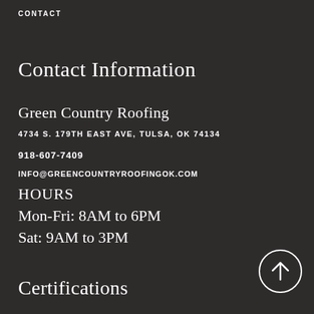CONTACT
Contact Information
Green Country Roofing
4734 S. 179TH EAST AVE, TULSA, OK 74134
918-607-7409
INFO@GREENCOUNTRYROOFINGOK.COM
HOURS
Mon-Fri: 8AM to 6PM
Sat: 9AM to 3PM
[Figure (illustration): Circular arrow-up button icon]
Certifications